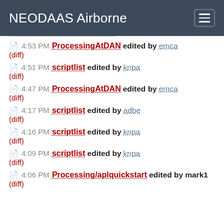NEODAAS Airborne
4:53 PM ProcessingAtDAN edited by emca (diff)
4:51 PM scriptlist edited by knpa (diff)
4:47 PM ProcessingAtDAN edited by emca (diff)
4:17 PM scriptlist edited by adbe (diff)
4:16 PM scriptlist edited by knpa (diff)
4:09 PM scriptlist edited by knpa (diff)
4:06 PM Processing/aplquickstart edited by mark1 (diff)